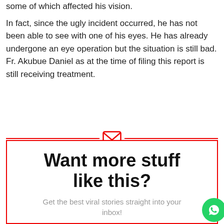some of which affected his vision.
In fact, since the ugly incident occurred, he has not been able to see with one of his eyes. He has already undergone an eye operation but the situation is still bad. Fr. Akubue Daniel as at the time of filing this report is still receiving treatment.
[Figure (infographic): Newsletter signup box with red border and mail icon, titled 'Want more stuff like this?' with subtitle 'Get the best viral stories straight into your inbox!' and an Email address label at the bottom.]